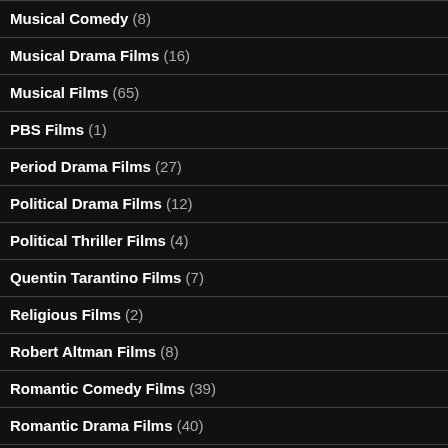Musical Comedy (8)
Musical Drama Films (16)
Musical Films (65)
PBS Films (1)
Period Drama Films (27)
Political Drama Films (12)
Political Thriller Films (4)
Quentin Tarantino Films (7)
Religious Films (2)
Robert Altman Films (8)
Romantic Comedy Films (39)
Romantic Drama Films (40)
Satirical Films (24)